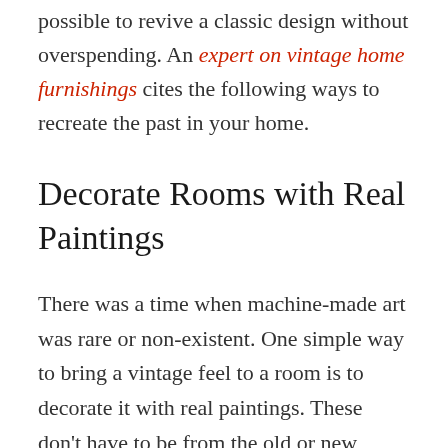possible to revive a classic design without overspending. An expert on vintage home furnishings cites the following ways to recreate the past in your home.
Decorate Rooms with Real Paintings
There was a time when machine-made art was rare or non-existent. One simple way to bring a vintage feel to a room is to decorate it with real paintings. These don't have to be from the old or new masters; these cost a fortune. You can paint your own work or buy one or two from a local artist. The texture of